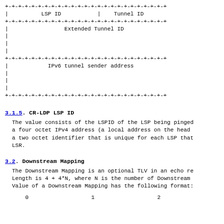[Figure (schematic): Network protocol diagram showing LSP ID, Tunnel ID, Extended Tunnel ID, and IPv6 tunnel sender address fields in a bit-field format with +-+-+-+- borders]
3.1.5. CR-LDP LSP ID
The value consists of the LSPID of the LSP being pinged a four octet IPv4 address (a local address on the head a two octet identifier that is unique for each LSP that LSR.
3.2. Downstream Mapping
The Downstream Mapping is an optional TLV in an echo re Length is 4 + 4*N, where N is the number of Downstream Value of a Downstream Mapping has the following format:
0                   1                   2